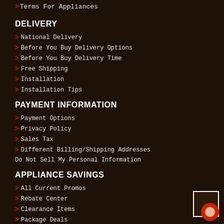>Terms For Appliances
DELIVERY
> National Delivery
> Before You Buy Delivery Options
> Before You Buy Delivery Time
> Free Shipping
> Installation
> Installation Tips
PAYMENT INFORMATION
> Payment Options
> Privacy Policy
> Sales Tax
> Different Billing/Shipping Addresses
Do Not Sell My Personal Information
APPLIANCE SAVINGS
> All Current Promos
> Rebate Center
> Clearance Items
> Package Deals